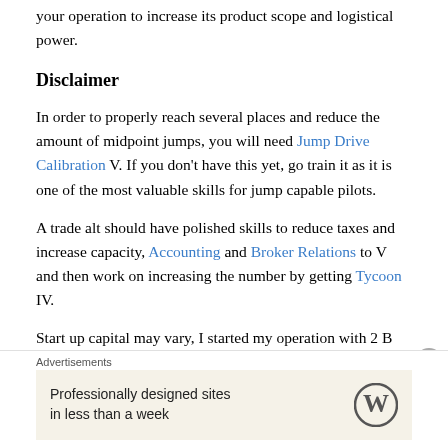your operation to increase its product scope and logistical power.
Disclaimer
In order to properly reach several places and reduce the amount of midpoint jumps, you will need Jump Drive Calibration V. If you don't have this yet, go train it as it is one of the most valuable skills for jump capable pilots.
A trade alt should have polished skills to reduce taxes and increase capacity, Accounting and Broker Relations to V and then work on increasing the number by getting Tycoon IV.
Start up capital may vary, I started my operation with 2 B...
Advertisements
Professionally designed sites in less than a week